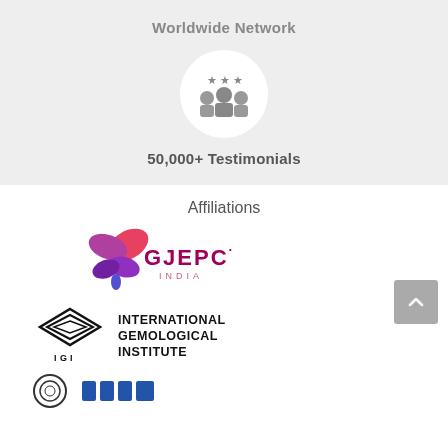Worldwide Network
[Figure (illustration): Icon showing people with speech/review stars above them, inside a white circle on a grey background]
50,000+ Testimonials
Affiliations
[Figure (logo): GJEPC India logo - butterfly/flower shape in pink/purple gradient with GJEPC India text]
[Figure (logo): IGI International Gemological Institute logo with diamond shape graphic and text]
[Figure (logo): Partial logos visible at bottom of page]